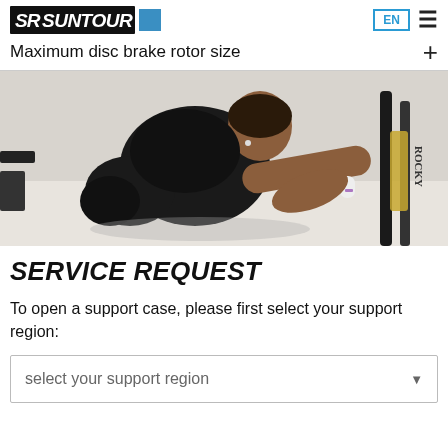SR SUNTOUR [logo] EN ☰
Maximum disc brake rotor size
[Figure (photo): A person in black clothing crouching and working on a bicycle fork/suspension, with a Rocky Mountain bike visible in the background.]
SERVICE REQUEST
To open a support case, please first select your support region:
select your support region